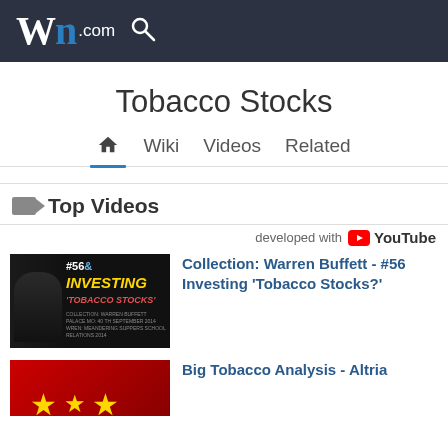Wn.com
Tobacco Stocks
Wiki  Videos  Related
Top Videos
developed with YouTube
[Figure (screenshot): YouTube video thumbnail: Warren Buffett #56 Investing 'Tobacco Stocks?' collection]
Collection: Warren Buffett - #56 Investing 'Tobacco Stocks?'
[Figure (screenshot): YouTube video thumbnail: Big Tobacco Analysis - Altria (partial, red background with gold stars)]
Big Tobacco Analysis - Altria